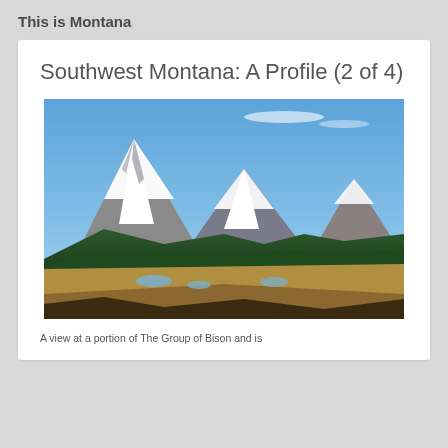This is Montana
Southwest Montana: A Profile (2 of 4)
[Figure (photo): Landscape photograph showing snow-capped mountain peaks with forested lower slopes and golden meadows in the foreground under a blue sky. Small ponds are visible in the valley.]
A view at a portion of The Group of Bison and is...